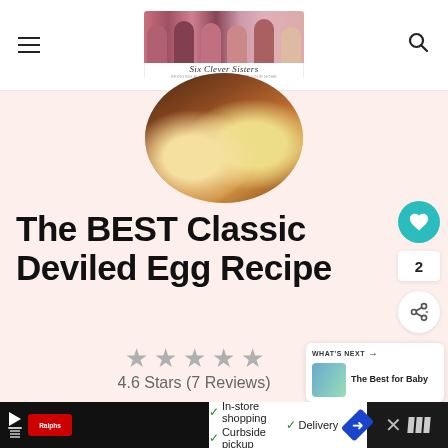Six Clever Sisters — blog header with logo and navigation
[Figure (photo): Circular cropped overhead photo of deviled eggs on a dark wooden surface]
The BEST Classic Deviled Egg Recipe
4.6 Stars (7 Reviews)
[Figure (infographic): What's Next promotional box: The Best for Baby]
[Figure (infographic): Bottom ad bar: Ralphs in-store shopping, curbside pickup, delivery advertisement]